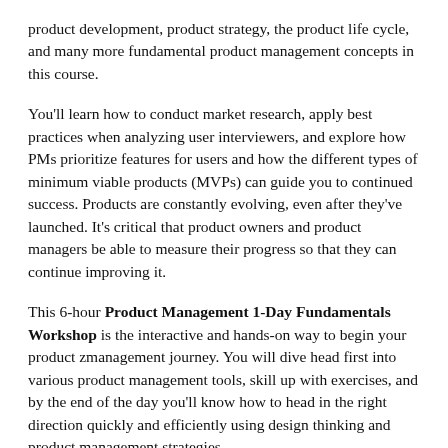product development, product strategy, the product life cycle, and many more fundamental product management concepts in this course.
You'll learn how to conduct market research, apply best practices when analyzing user interviewers, and explore how PMs prioritize features for users and how the different types of minimum viable products (MVPs) can guide you to continued success. Products are constantly evolving, even after they've launched. It's critical that product owners and product managers be able to measure their progress so that they can continue improving it.
This 6-hour Product Management 1-Day Fundamentals Workshop is the interactive and hands-on way to begin your product zmanagement journey. You will dive head first into various product management tools, skill up with exercises, and by the end of the day you'll know how to head in the right direction quickly and efficiently using design thinking and product management strategies.